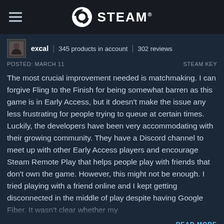STEAM
excal | 345 products in account | 302 reviews
POSTED: MARCH 11  STEAM KEY
The most crucial improvement needed is matchmaking. I can forgive Fling to the Finish for being somewhat barren as this game is in Early Access, but it doesn't make the issue any less frustrating for people trying to queue at certain times. Luckily, the developers have been very accommodating with their growing community. They have a Discord channel to meet up with other Early Access players and encourage Steam Remote Play that helps people play with friends that don't own the game. However, this might not be enough. I tried playing with a friend online and I kept getting disconnected in the middle of play despite having Google Fiber. It wasn't clear whether my
READ MORE
Was this review helpful?
Yes  No  Funny  Award